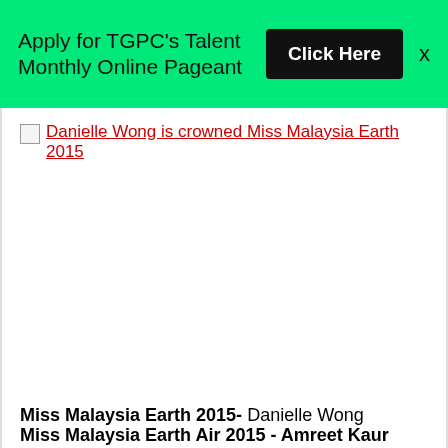Apply for TGPC's Talent Monthly Online Pageant  Click Here  X
Danielle Wong is crowned Miss Malaysia Earth 2015
[Figure (photo): Image placeholder for Danielle Wong crowned Miss Malaysia Earth 2015]
Miss Malaysia Earth 2015- Danielle Wong
Miss Malaysia Earth Air 2015 - Amreet Kaur